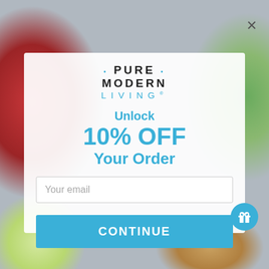[Figure (screenshot): Background showing product images including chocolate bar, Late July chips bag, and other grocery products, partially obscured by modal overlay]
• PURE • MODERN LIVING®
Unlock 10% OFF Your Order
Your email
CONTINUE